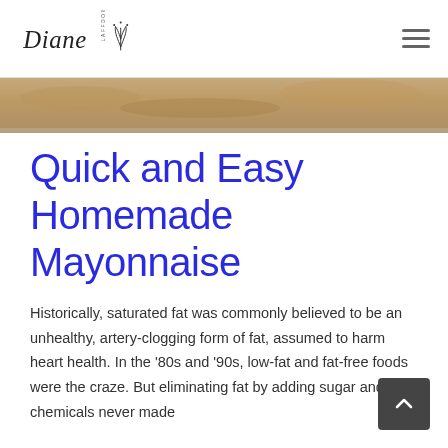Diane Laffdow [logo with plant icon and hamburger menu]
[Figure (photo): Hero image showing a textured sandy/earthy surface, cropped at top of content area]
Quick and Easy Homemade Mayonnaise
Historically, saturated fat was commonly believed to be an unhealthy, artery-clogging form of fat, assumed to harm heart health. In the '80s and '90s, low-fat and fat-free foods were the craze. But eliminating fat by adding sugar and chemicals never made